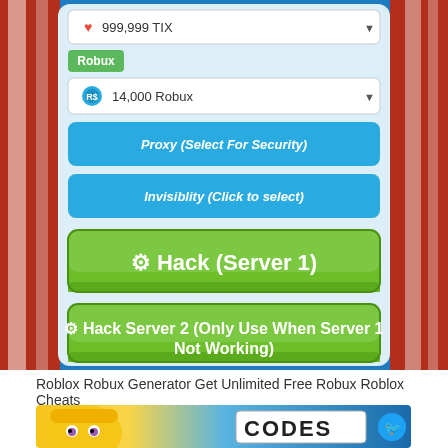[Figure (screenshot): Screenshot of a Roblox Robux generator interface showing: a heart icon with '999,999 TIX', a green 'Robux' label, a dropdown showing '14,000 Robux', a blue button 'Proxy (Select For Security)', a blue button 'Invisibility (Click to select)', a large green button '⚙ Hack (Server 1)', and a green button '⚙ Hack Server 2 (Only Use When Server 1 Not Working)' on a blue background]
Roblox Robux Generator Get Unlimited Free Robux Roblox Cheats
[Figure (screenshot): Bottom portion of another screenshot showing a Roblox character with blonde hair and a sign partially visible with 'CODES' text and a Twitter bird icon]